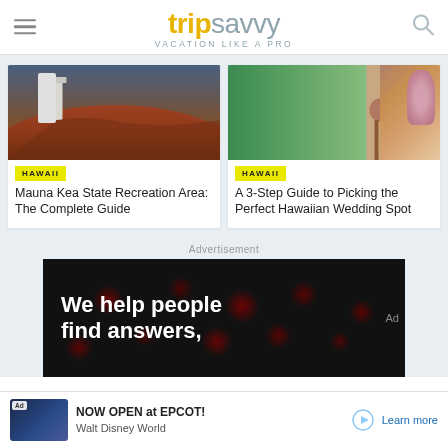tripsavvy — VACATION LIKE A PRO
[Figure (photo): Red earth landscape with lighthouse, Mauna Kea area, Hawaii]
HAWAII
Mauna Kea State Recreation Area: The Complete Guide
[Figure (photo): Tropical wedding setup with flowers and palm trees in Hawaii]
HAWAII
A 3-Step Guide to Picking the Perfect Hawaiian Wedding Spot
Advertisement
[Figure (screenshot): Advertisement banner with text: We help people find answers,]
[Figure (screenshot): Bottom ad bar: Ad — NOW OPEN at EPCOT! Walt Disney World — Learn more]